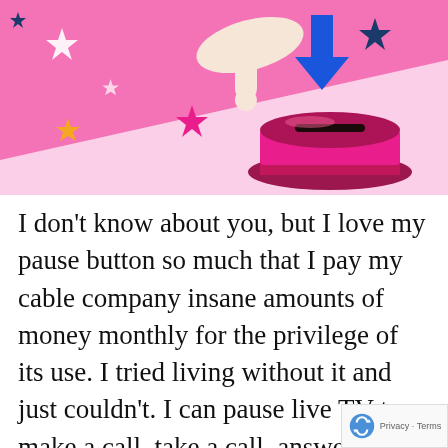[Figure (illustration): Colorful illustration on a pink background showing a hand pointing downward toward a large magenta/pink button with a dark slot on top, with a blue downward arrow above the button. Decorative stars in white, magenta, orange/yellow, and dark blue are scattered around.]
I don't know about you, but I love my pause button so much that I pay my cable company insane amounts of money monthly for the privilege of its use. I tried living without it and just couldn't. I can pause live TV to make a call, take a call, answer the door, turn down the stove All manner of wonderful options exis